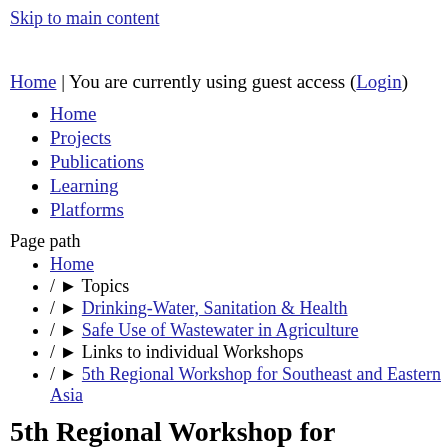Skip to main content
Home | You are currently using guest access (Login)
Home
Projects
Publications
Learning
Platforms
Page path
Home
/ ▶ Topics
/ ▶ Drinking-Water, Sanitation & Health
/ ▶ Safe Use of Wastewater in Agriculture
/ ▶ Links to individual Workshops
/ ▶ 5th Regional Workshop for Southeast and Eastern Asia
5th Regional Workshop for Southeast and E